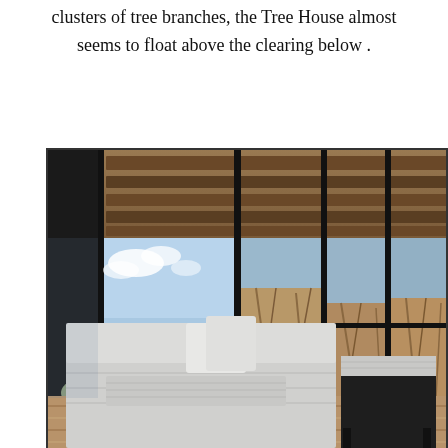clusters of tree branches, the Tree House almost seems to float above the clearing below.
[Figure (photo): Interior photograph of a Tree House bedroom/sitting area with floor-to-ceiling black-framed windows overlooking a landscape of bare tree branches and hills. The room features exposed wooden ceiling beams, a white upholstered daybed/sofa with gray pillows and a knit throw, a small dark side table with a folded blanket, and warm wood plank flooring. The view outside shows a partly cloudy sky and dry winter shrubs.]